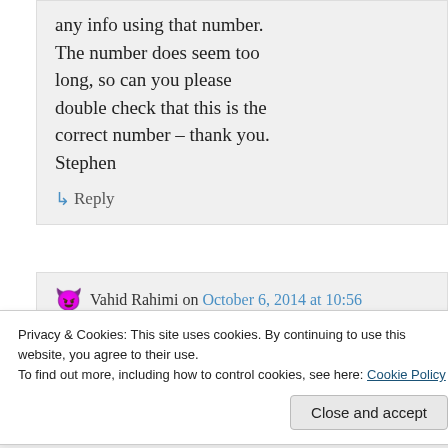any info using that number. The number does seem too long, so can you please double check that this is the correct number – thank you. Stephen
↳ Reply
Vahid Rahimi on October 6, 2014 at 10:56
Privacy & Cookies: This site uses cookies. By continuing to use this website, you agree to their use. To find out more, including how to control cookies, see here: Cookie Policy
Close and accept
mum started her working in 1976, she